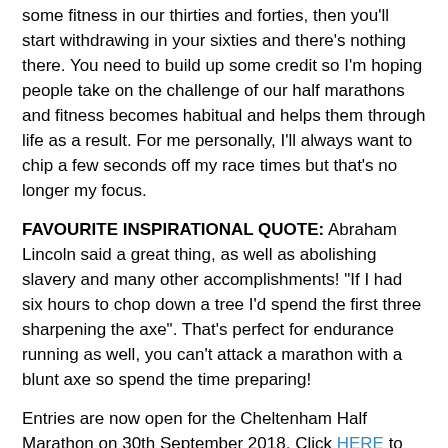some fitness in our thirties and forties, then you'll start withdrawing in your sixties and there's nothing there. You need to build up some credit so I'm hoping people take on the challenge of our half marathons and fitness becomes habitual and helps them through life as a result. For me personally, I'll always want to chip a few seconds off my race times but that's no longer my focus.
FAVOURITE INSPIRATIONAL QUOTE: Abraham Lincoln said a great thing, as well as abolishing slavery and many other accomplishments! "If I had six hours to chop down a tree I'd spend the first three sharpening the axe". That's perfect for endurance running as well, you can't attack a marathon with a blunt axe so spend the time preparing!
Entries are now open for the Cheltenham Half Marathon on 30th September 2018. Click HERE to book your place.